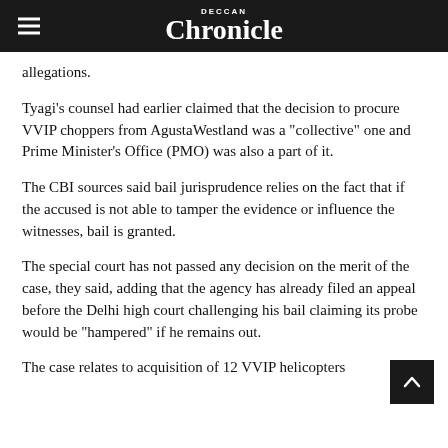Deccan Chronicle
allegations.
Tyagi's counsel had earlier claimed that the decision to procure VVIP choppers from AgustaWestland was a "collective" one and Prime Minister's Office (PMO) was also a part of it.
The CBI sources said bail jurisprudence relies on the fact that if the accused is not able to tamper the evidence or influence the witnesses, bail is granted.
The special court has not passed any decision on the merit of the case, they said, adding that the agency has already filed an appeal before the Delhi high court challenging his bail claiming its probe would be "hampered" if he remains out.
The case relates to acquisition of 12 VVIP helicopters